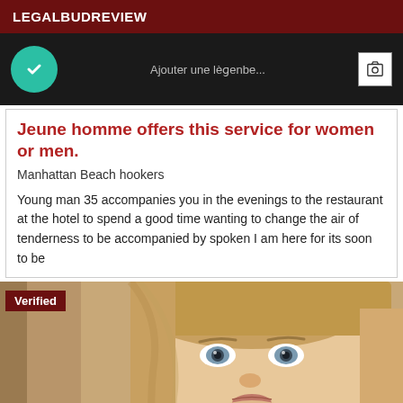LEGALBUDREVIEW
[Figure (screenshot): Dark strip with teal circle checkmark, reversed French text 'Ajouter une légende...', and an add-photo button]
Jeune homme offers this service for women or men.
Manhattan Beach hookers
Young man 35 accompanies you in the evenings to the restaurant at the hotel to spend a good time wanting to change the air of tenderness to be accompanied by spoken I am here for its soon to be
[Figure (photo): Close-up photo of a young woman with blonde hair and blue-grey eyes, with a dark red 'Verified' badge in the upper left corner]